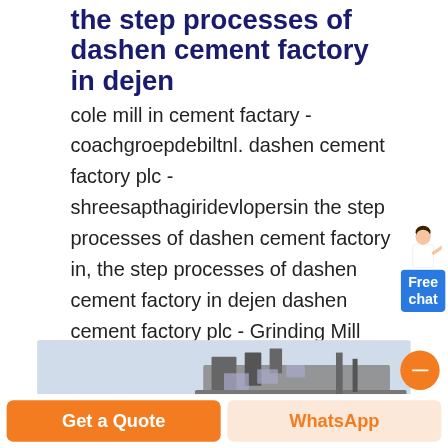the step processes of dashen cement factory in dejen
cole mill in cement factary - coachgroepdebiltnl. dashen cement factory plc - shreesapthagiridevlopersin the step processes of dashen cement factory in, the step processes of dashen cement factory in dejen dashen cement factory plc - Grinding Mill China Hot Products Used for dashen cement factory plc mtw milling machine hpc cone crusher vsi crusher vibrating feeder ...
[Figure (photo): Photo of industrial cement factory machinery/equipment at the bottom of the page]
Get a Quote   WhatsApp